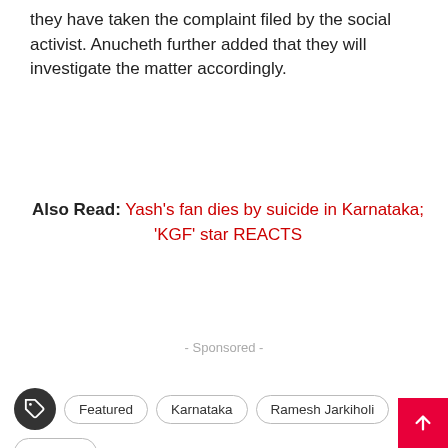they have taken the complaint filed by the social activist. Anucheth further added that they will investigate the matter accordingly.
Also Read: Yash's fan dies by suicide in Karnataka; 'KGF' star REACTS
- Sponsored -
Featured
Karnataka
Ramesh Jarkiholi
Trending
139